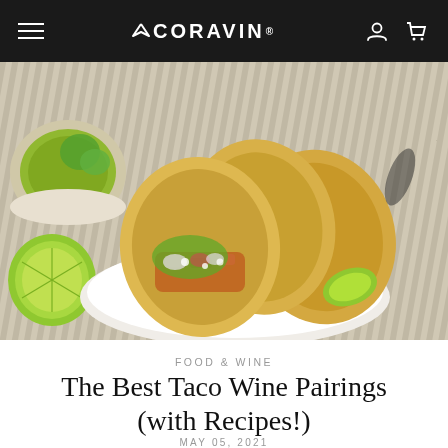CORAVIN (navigation bar with hamburger menu, logo, account and cart icons)
[Figure (photo): Close-up photograph of three chicken tacos on a white plate, garnished with chopped onions, cilantro, and crumbled cheese, with lime wedges. A bowl of guacamole and additional lime halves appear in the background on a striped cloth surface.]
FOOD & WINE
The Best Taco Wine Pairings (with Recipes!)
MAY 05, 2021